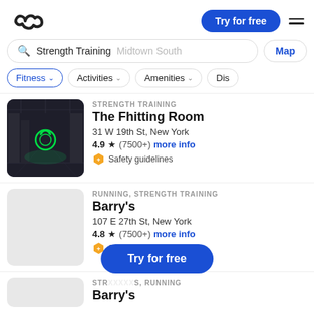ClassPass app screenshot header with logo, Try for free button, and hamburger menu
Strength Training  Midtown South  Map
Fitness ∨  Activities ∨  Amenities ∨  Dis
[Figure (screenshot): Gym interior with green kettlebell logo glowing on floor]
STRENGTH TRAINING
The Fhitting Room
31 W 19th St, New York
4.9 ★ (7500+) more info
⬡ Safety guidelines
RUNNING, STRENGTH TRAINING
Barry's
107 E 27th St, New York
4.8 ★ (7500+) more info
⬡ Safety guidelines
Try for free
STR...S, RUNNING
Barry's